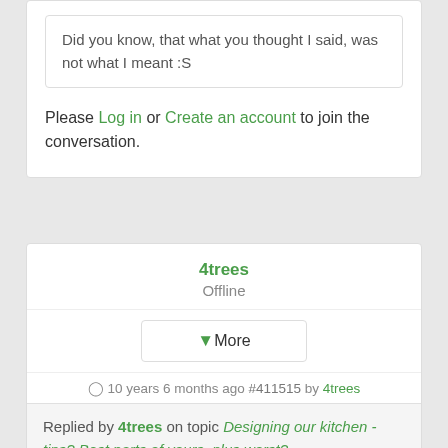Did you know, that what you thought I said, was not what I meant :S
Please Log in or Create an account to join the conversation.
4trees
Offline
▼More
10 years 6 months ago #411515 by 4trees
Replied by 4trees on topic Designing our kitchen - tips? Best parts of yours, plus worst?
Hi, if you are planning a new kitchen go into M10